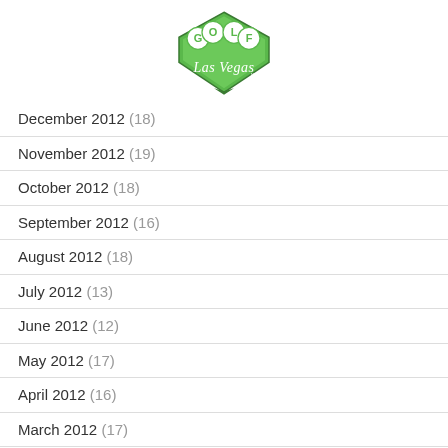[Figure (logo): Golf Las Vegas logo — green diamond shape with GOLF letters in circles and cursive Las Vegas text]
December 2012 (18)
November 2012 (19)
October 2012 (18)
September 2012 (16)
August 2012 (18)
July 2012 (13)
June 2012 (12)
May 2012 (17)
April 2012 (16)
March 2012 (17)